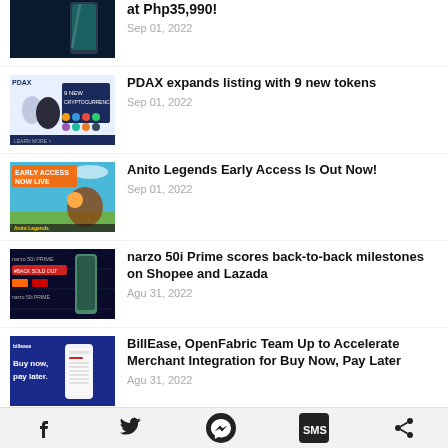[Figure (photo): Partial phone product image]
at Php35,990!
Sep 01, 2022
[Figure (photo): PDAX 9 new cryptocurrency banner]
PDAX expands listing with 9 new tokens
Sep 01, 2022
[Figure (photo): Anito Legends Early Access Now Live banner]
Anito Legends Early Access Is Out Now!
Sep 01, 2022
[Figure (photo): narzo 50i Prime Shopee Lazada banner]
narzo 50i Prime scores back-to-back milestones on Shopee and Lazada
Agu 31, 2022
[Figure (photo): BillEase OpenFabric Buy Now Pay Later banner]
BillEase, OpenFabric Team Up to Accelerate Merchant Integration for Buy Now, Pay Later
Agu 31, 2022